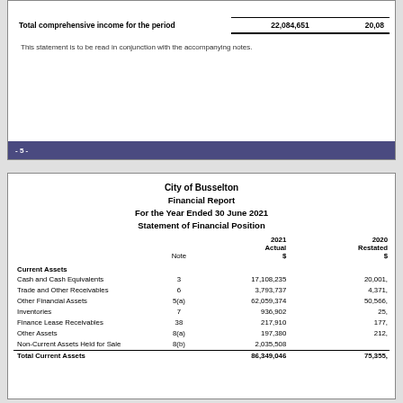|  |  | 2021 Actual $ | 2020 Restated $ |
| --- | --- | --- | --- |
| Total comprehensive income for the period |  | 22,084,651 | 20,08... |
This statement is to be read in conjunction with the accompanying notes.
- 5 -
City of Busselton
Financial Report
For the Year Ended 30 June 2021
Statement of Financial Position
|  | Note | 2021
Actual
$ | 2020
Restated
$ |
| --- | --- | --- | --- |
| Current Assets |  |  |  |
| Cash and Cash Equivalents | 3 | 17,108,235 | 20,001,... |
| Trade and Other Receivables | 6 | 3,793,737 | 4,371,... |
| Other Financial Assets | 5(a) | 62,059,374 | 50,566,... |
| Inventories | 7 | 936,902 | 25,... |
| Finance Lease Receivables | 38 | 217,910 | 177,... |
| Other Assets | 8(a) | 197,380 | 212,... |
| Non-Current Assets Held for Sale | 8(b) | 2,035,508 |  |
| Total Current Assets |  | 86,349,046 | 75,355,... |